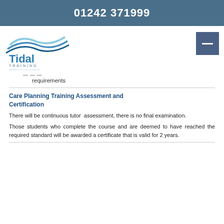01242 371999
[Figure (logo): Tidal Training logo with wave graphic and tagline 'bringing a new wave in training']
requirements
Care Planning Training Assessment and Certification
There will be continuous tutor assessment, there is no final examination.
Those students who complete the course and are deemed to have reached the required standard will be awarded a certificate that is valid for 2 years.